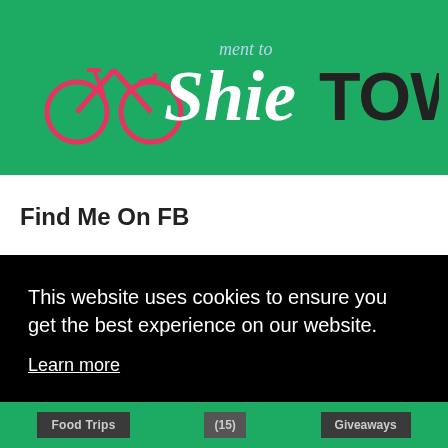[Figure (logo): ShieTOWN website logo with bicycle icon. 'Shie' in white italic script with 'TOWN' in bold dark letters, and 'ment to' in small script above, on a green background.]
Find Me On FB
Labels
This website uses cookies to ensure you get the best experience on our website.
Learn more
Got it!
Food Trips
(15)
Giveaways